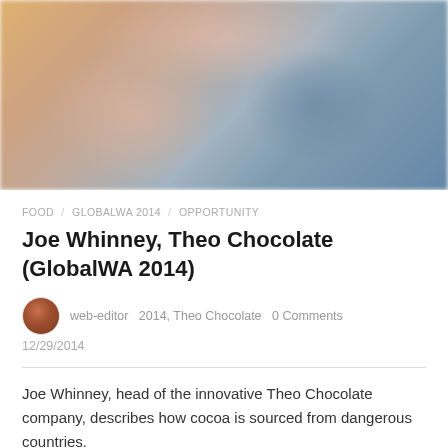[Figure (photo): Blurred photograph of people, with warm orange/brown tones on the left and cooler blue/gray tones on the right]
FOOD / GLOBALWA 2014 / OPPORTUNITY
Joe Whinney, Theo Chocolate (GlobalWA 2014)
web-editor  2014, Theo Chocolate  0 Comments
12/29/2014
Joe Whinney, head of the innovative Theo Chocolate company, describes how cocoa is sourced from dangerous countries.